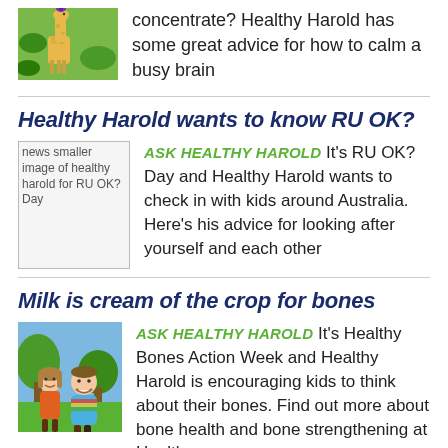[Figure (photo): Photo of a giraffe with a small bird on its head, colorful image]
concentrate? Healthy Harold has some great advice for how to calm a busy brain
Healthy Harold wants to know RU OK?
[Figure (photo): news smaller image of healthy harold for RU OK? Day]
ASK HEALTHY HAROLD It's RU OK? Day and Healthy Harold wants to check in with kids around Australia. Here's his advice for looking after yourself and each other
Milk is cream of the crop for bones
[Figure (photo): Photo of two smiling children, a girl and a boy, outdoors]
ASK HEALTHY HAROLD It's Healthy Bones Action Week and Healthy Harold is encouraging kids to think about their bones. Find out more about bone health and bone strengthening at Healthy